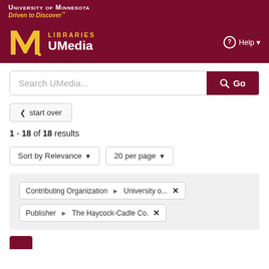University of Minnesota — Driven to Discover™
[Figure (logo): University of Minnesota Libraries UMedia logo with gold M and maroon background, Help button]
Search UMedia...
start over
1 - 18 of 18 results
Sort by Relevance ▾   20 per page ▾
Contributing Organization › University o...  ✕
Publisher › The Haycock-Cadle Co.  ✕